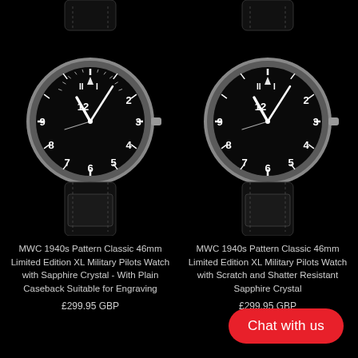[Figure (photo): Two MWC 1940s Pattern Classic 46mm military pilot watches with black dials and leather straps on a black background]
MWC 1940s Pattern Classic 46mm Limited Edition XL Military Pilots Watch with Sapphire Crystal - With Plain Caseback Suitable for Engraving
£299.95 GBP
MWC 1940s Pattern Classic 46mm Limited Edition XL Military Pilots Watch with Scratch and Shatter Resistant Sapphire Crystal
£299.95 GBP
Chat with us